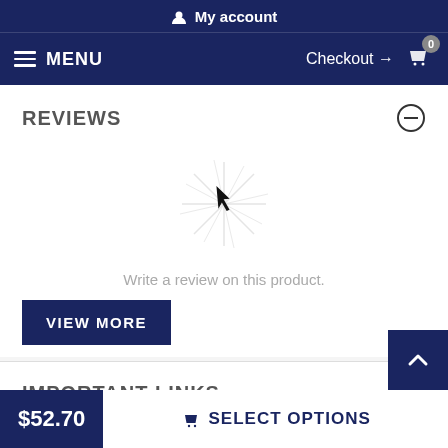My account
MENU  Checkout → 0
REVIEWS
[Figure (illustration): Starburst / sparkle icon centered on page]
Write a review on this product.
VIEW MORE
IMPORTANT LINKS
To measure your dog's head
$52.70   SELECT OPTIONS